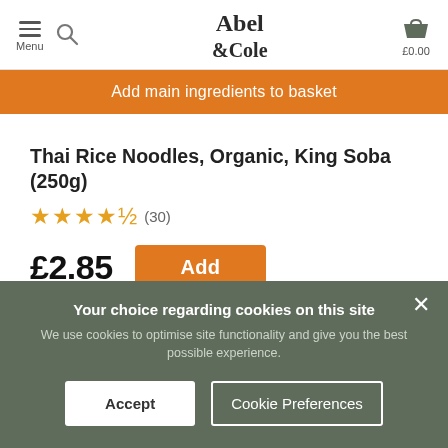Abel & Cole — Menu | Search | £0.00
Add main ingredients to basket
Thai Rice Noodles, Organic, King Soba (250g)
★★★★★ (30)
£2.85  Add
(£1.14 per 100g)
[Figure (infographic): Three small dietary/certification badge icons: organic circle O, vegan V, free-from X]
Your choice regarding cookies on this site
We use cookies to optimise site functionality and give you the best possible experience.
Accept  |  Cookie Preferences